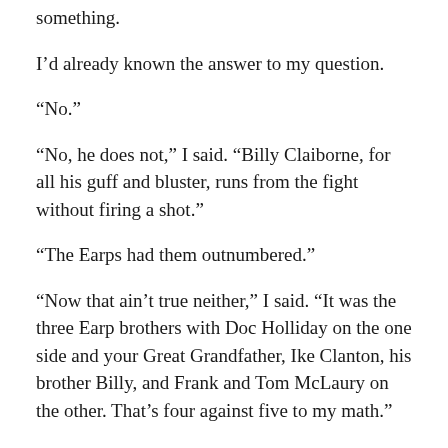something.
I'd already known the answer to my question.
“No.”
“No, he does not,” I said. “Billy Claiborne, for all his guff and bluster, runs from the fight without firing a shot.”
“The Earps had them outnumbered.”
“Now that ain’t true neither,” I said. “It was the three Earp brothers with Doc Holliday on the one side and your Great Grandfather, Ike Clanton, his brother Billy, and Frank and Tom McLaury on the other. That’s four against five to my math.”
“He shouldn’t have run,” Bob said. “His reputation wasn’t worth spit after that.”
“Come on, Bob. Billy Claiborne’s reputation wasn’t worth much before that.”